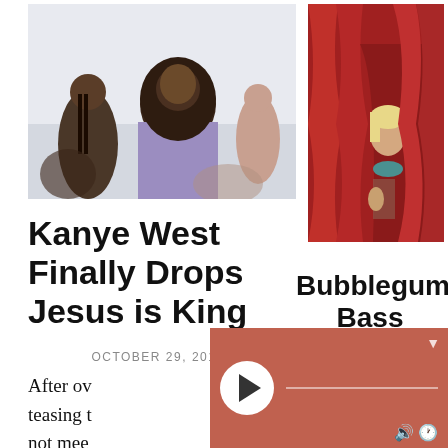[Figure (photo): Photo of Kanye West performing outdoors in a lavender hoodie, with other people around him]
[Figure (photo): Photo of a person peeking through dramatic red velvet curtains]
Kanye West Finally Drops Jesus is King
OCTOBER 29, 2019
After ov... teasing t... not mee... imposed...
Bubblegum Bass Starter Pack
[Figure (other): Audio/media player overlay with play button, progress bar, and controls on a terracotta/rust colored background]